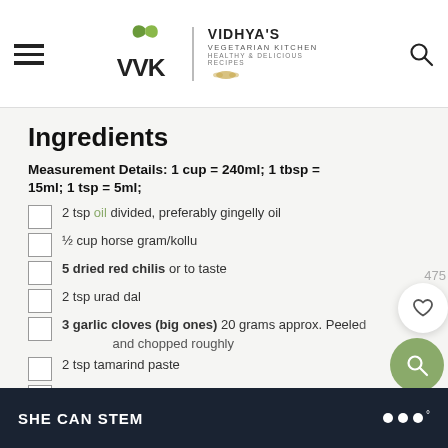Vidhya's Vegetarian Kitchen — Healthy & Delicious Recipes
Ingredients
Measurement Details: 1 cup = 240ml; 1 tbsp = 15ml; 1 tsp = 5ml;
2 tsp oil divided, preferably gingelly oil
½ cup horse gram/kollu
5 dried red chilis or to taste
2 tsp urad dal
3 garlic cloves (big ones) 20 grams approx. Peeled and chopped roughly
2 tsp tamarind paste
1.25 tsp salt or to taste
¼ cup grated coconut if using frozen thaw it to room
SHE CAN STEM